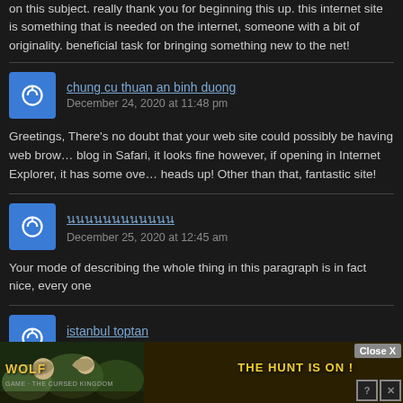on this subject. really thank you for beginning this up. this internet site is something that is needed on the internet, someone with a bit of originality. beneficial task for bringing something new to the net!
chung cu thuan an binh duong
December 24, 2020 at 11:48 pm
Greetings, There's no doubt that your web site could possibly be having web browser compatibility problems. When I look at your blog in Safari, it looks fine however, if opening in Internet Explorer, it has some overlapping issues. I just wanted to give you a heads up! Other than that, fantastic site!
นnnnnnnnnnn
December 25, 2020 at 12:45 am
Your mode of describing the whole thing in this paragraph is in fact nice, every one
istanbul toptan
December 25, 2020 at 2:37 am
Hi there! I could have sworn I've been to this web site before but after browsing through some of the posts I realized it's new to me. Anyways I'm definitely happy I found it and I'll be book-marking it and ch
[Figure (screenshot): Wolf game advertisement banner at the bottom showing wolves and text 'THE HUNT IS ON!' with a Close X button and help/close icons]